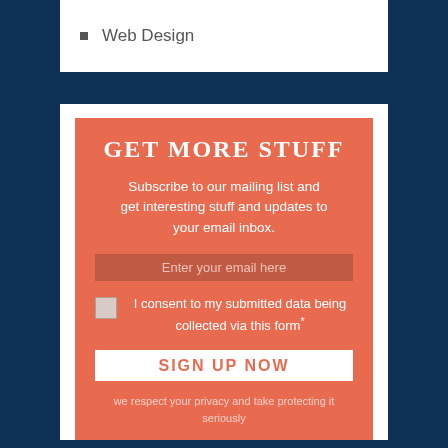Web Design
GET MORE STUFF
Subscribe to our mailing list and get interesting stuff and updates to your email inbox.
Enter your email here
I consent to my submitted data being collected via this form*
SIGN UP NOW
we respect your privacy and take protecting it seriously